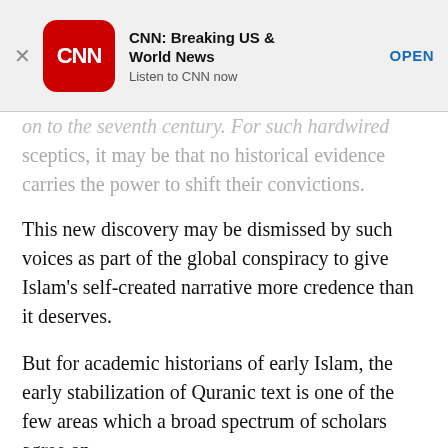[Figure (screenshot): CNN app advertisement banner with red rounded square logo, bold title 'CNN: Breaking US & World News', subtitle 'Listen to CNN now', and blue 'OPEN' button. A close X appears on the left.]
on to the seventh century. For such hardwired sceptics, it may be that no historical evidence carries the power to shift their convictions.
This new discovery may be dismissed by such voices as part of the global conspiracy to give Islam's self-created narrative more credence than it deserves.
But for academic historians of early Islam, the early stabilization of Quranic text is one of the few areas which a broad spectrum of scholars agree on.
In the words of the recently departed historian Patricia Crone, a widely acknowledged expert on early and medieval Islam: “We can be reasonably